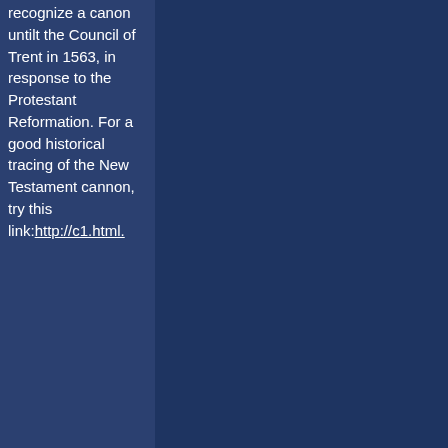recognize a canon untilt the Council of Trent in 1563, in response to the Protestant Reformation. For a good historical tracing of the New Testament cannon, try this link:http://c1.html.